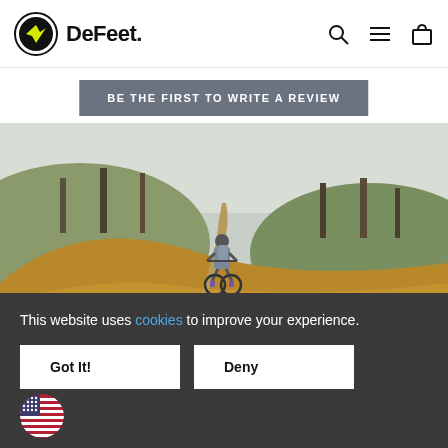[Figure (logo): DeFeet logo with circular black emblem containing yellow lightning bolt, followed by bold text 'DeFeet.']
[Figure (other): Navigation icons: search (magnifying glass), hamburger menu, and shopping bag]
BE THE FIRST TO WRITE A REVIEW
[Figure (photo): Mountain biker riding away from camera on a dirt trail through golden-brown meadow grass with bare trees in background]
This website uses cookies to improve your experience.
Got It!
Deny
[Figure (illustration): Small circular US flag icon]